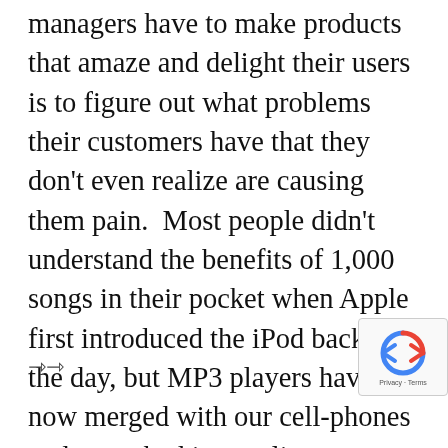managers have to make products that amaze and delight their users is to figure out what problems their customers have that they don't even realize are causing them pain.  Most people didn't understand the benefits of 1,000 songs in their pocket when Apple first introduced the iPod back in the day, but MP3 players have now merged with our cell-phones and  morphed into online streaming services to provide an ever-present library of whatever music strikes our fancy at the time.  Sure, they weren't the first, nor were they the fanciest, but Jobs and Co. tapped into something important — the latent need for us to have our music with us, wherever we went, in a package small enough to slip into our